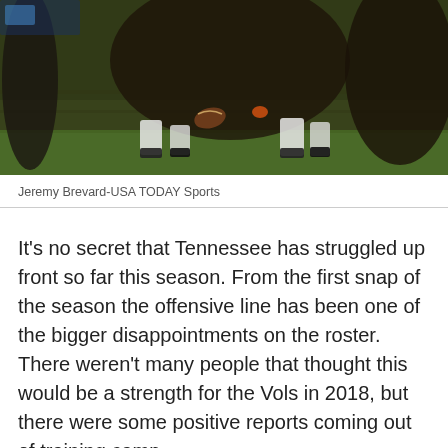[Figure (photo): Football players lined up at the line of scrimmage, view from ground level showing legs, cleats, and a football on the turf]
Jeremy Brevard-USA TODAY Sports
It's no secret that Tennessee has struggled up front so far this season. From the first snap of the season the offensive line has been one of the bigger disappointments on the roster. There weren't many people that thought this would be a strength for the Vols in 2018, but there were some positive reports coming out of training camp.